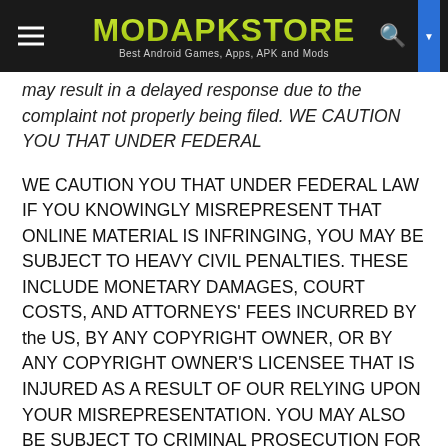MODAPKSTORE — Best Android Games, Apps, APK and Mods
may result in a delayed response due to the complaint not properly being filed. WE CAUTION YOU THAT UNDER FEDERAL
WE CAUTION YOU THAT UNDER FEDERAL LAW IF YOU KNOWINGLY MISREPRESENT THAT ONLINE MATERIAL IS INFRINGING, YOU MAY BE SUBJECT TO HEAVY CIVIL PENALTIES. THESE INCLUDE MONETARY DAMAGES, COURT COSTS, AND ATTORNEYS' FEES INCURRED BY the US, BY ANY COPYRIGHT OWNER, OR BY ANY COPYRIGHT OWNER'S LICENSEE THAT IS INJURED AS A RESULT OF OUR RELYING UPON YOUR MISREPRESENTATION. YOU MAY ALSO BE SUBJECT TO CRIMINAL PROSECUTION FOR PERJURY. This information should not be construed as legal advice, for further details on the information required for valid DMCA notifications, see 17 U.S.C. 512(c)(3).